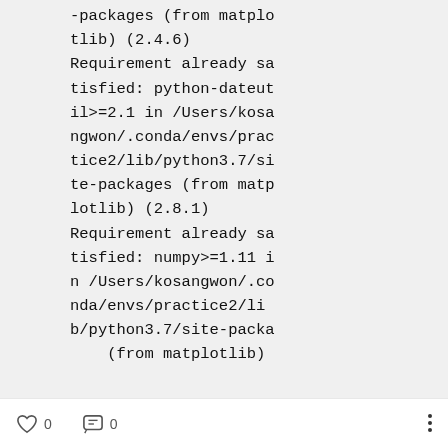-packages (from matplotlib) (2.4.6)
Requirement already satisfied: python-dateutil>=2.1 in /Users/kosangwon/.conda/envs/practice2/lib/python3.7/site-packages (from matplotlib) (2.8.1)
Requirement already satisfied: numpy>=1.11 in /Users/kosangwon/.conda/envs/practice2/lib/python3.7/site-packa
(from matplotlib)
0  0